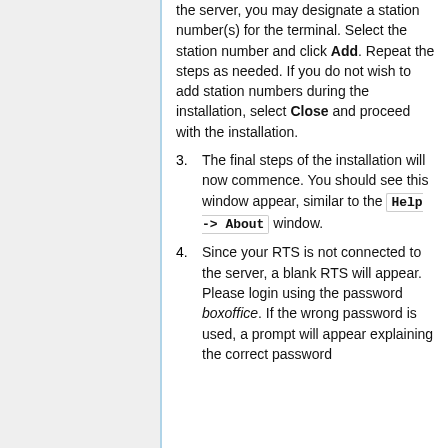the server, you may designate a station number(s) for the terminal. Select the station number and click Add. Repeat the steps as needed. If you do not wish to add station numbers during the installation, select Close and proceed with the installation.
3. The final steps of the installation will now commence. You should see this window appear, similar to the Help -> About window.
4. Since your RTS is not connected to the server, a blank RTS will appear. Please login using the password boxoffice. If the wrong password is used, a prompt will appear explaining the correct password